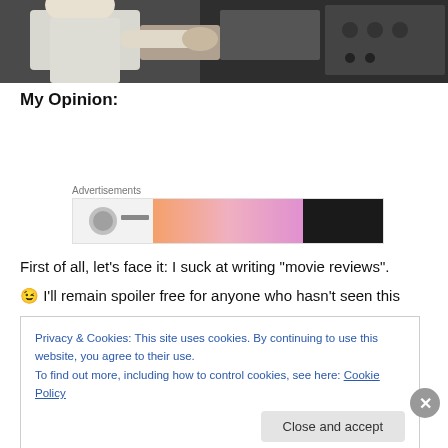[Figure (screenshot): Partial screenshot of a person in a white shirt working with electronic equipment]
My Opinion:
Advertisements
[Figure (other): Advertisement banner with orange/pink gradient and dark button on the right]
First of all, let’s face it: I suck at writing “movie reviews”.
😉 I’ll remain spoiler free for anyone who hasn’t seen this
Privacy & Cookies: This site uses cookies. By continuing to use this website, you agree to their use.
To find out more, including how to control cookies, see here: Cookie Policy
Close and accept